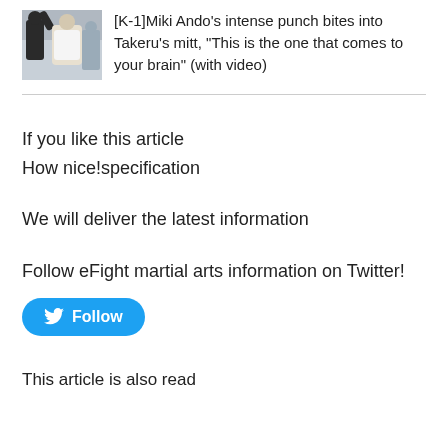[Figure (photo): Thumbnail photo of a martial arts training scene with two people]
[K-1]Miki Ando’s intense punch bites into Takeru’s mitt, “This is the one that comes to your brain” (with video)
If you like this article
How nice!specification
We will deliver the latest information
Follow eFight martial arts information on Twitter!
[Figure (other): Twitter Follow button]
This article is also read